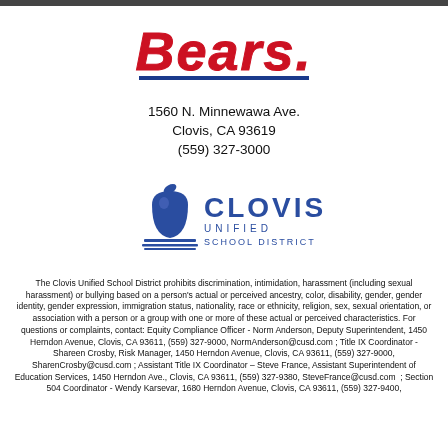[Figure (logo): Bears athletic logo with red stylized text 'Bears' and blue underline]
1560 N. Minnewawa Ave.
Clovis, CA 93619
(559) 327-3000
[Figure (logo): Clovis Unified School District logo with apple and book graphic]
The Clovis Unified School District prohibits discrimination, intimidation, harassment (including sexual harassment) or bullying based on a person's actual or perceived ancestry, color, disability, gender, gender identity, gender expression, immigration status, nationality, race or ethnicity, religion, sex, sexual orientation, or association with a person or a group with one or more of these actual or perceived characteristics. For questions or complaints, contact: Equity Compliance Officer - Norm Anderson, Deputy Superintendent, 1450 Herndon Avenue, Clovis, CA 93611, (559) 327-9000, NormAnderson@cusd.com ; Title IX Coordinator - Shareen Crosby, Risk Manager, 1450 Herndon Avenue, Clovis, CA 93611, (559) 327-9000, SharenCrosby@cusd.com ; Assistant Title IX Coordinator – Steve France, Assistant Superintendent of Education Services, 1450 Herndon Ave., Clovis, CA 93611, (559) 327-9380, SteveFrance@cusd.com ; Section 504 Coordinator - Wendy Karsevar, 1680 Herndon Avenue, Clovis, CA 93611, (559) 327-9400,